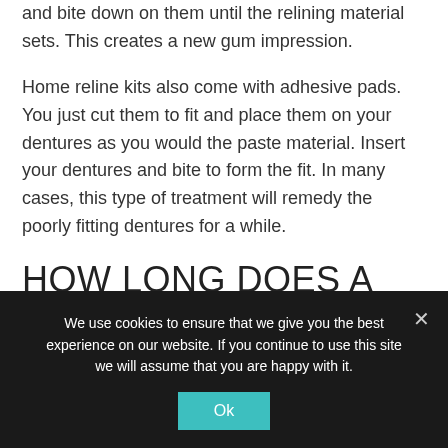and bite down on them until the relining material sets. This creates a new gum impression.
Home reline kits also come with adhesive pads. You just cut them to fit and place them on your dentures as you would the paste material. Insert your dentures and bite to form the fit. In many cases, this type of treatment will remedy the poorly fitting dentures for a while.
HOW LONG DOES A SOFT RELINE LAST?
We use cookies to ensure that we give you the best experience on our website. If you continue to use this site we will assume that you are happy with it.